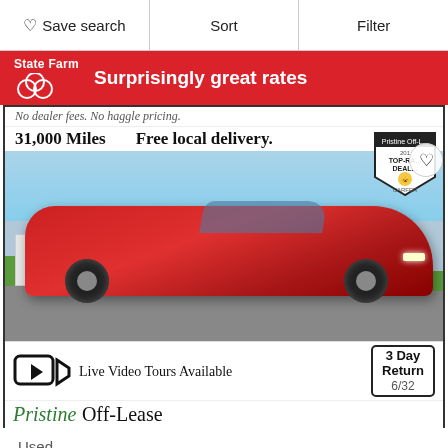Save search  |  Sort  |  Filter
[Figure (advertisement): State Farm red banner advertisement with logo and text 'Surprisingly great rates']
[Figure (photo): Red 2016 Jaguar F-TYPE R sports car parked outdoors on gravel, with dealer badge overlay, heart save button, 3 Day Return badge, Live Video Tours Available text, and Pristine Off-Lease branding. Shows 31,000 Miles and Free local delivery.]
Used
2016 Jaguar F-TYPE R